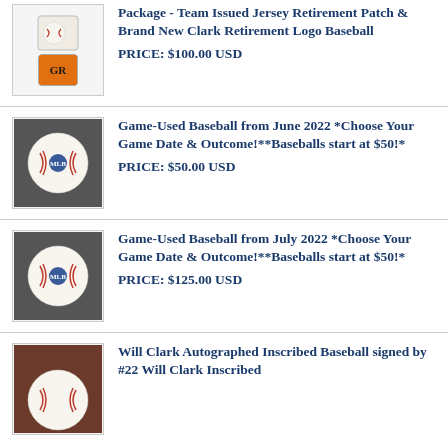Package - Team Issued Jersey Retirement Patch & Brand New Clark Retirement Logo Baseball
PRICE: $100.00 USD
Game-Used Baseball from June 2022 *Choose Your Game Date & Outcome!**Baseballs start at $50!*
PRICE: $50.00 USD
Game-Used Baseball from July 2022 *Choose Your Game Date & Outcome!**Baseballs start at $50!*
PRICE: $125.00 USD
Will Clark Autographed Inscribed Baseball signed by #22 Will Clark Inscribed